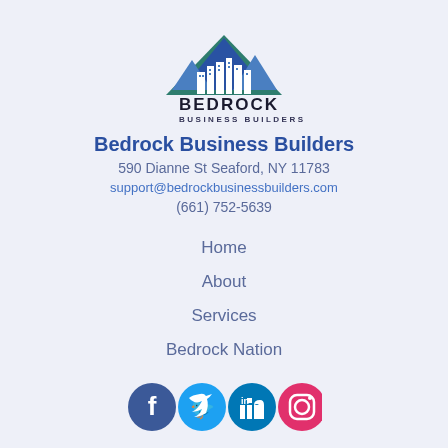[Figure (logo): Bedrock Business Builders logo with mountain silhouette and city skyline]
Bedrock Business Builders
590 Dianne St Seaford, NY 11783
support@bedrockbusinessbuilders.com
(661) 752-5639
Home
About
Services
Bedrock Nation
[Figure (illustration): Four social media icons: Facebook (dark blue), Twitter (light blue), LinkedIn (teal/blue), Instagram (red/pink)]